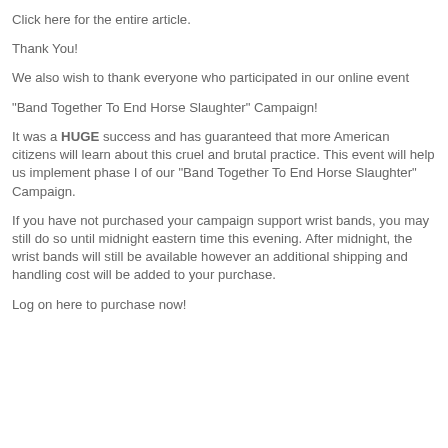Click here for the entire article.
Thank You!
We also wish to thank everyone who participated in our online event
"Band Together To End Horse Slaughter" Campaign!
It was a HUGE success and has guaranteed that more American citizens will learn about this cruel and brutal practice. This event will help us implement phase I of our "Band Together To End Horse Slaughter" Campaign.
If you have not purchased your campaign support wrist bands, you may still do so until midnight eastern time this evening. After midnight, the wrist bands will still be available however an additional shipping and handling cost will be added to your purchase.
Log on here to purchase now!